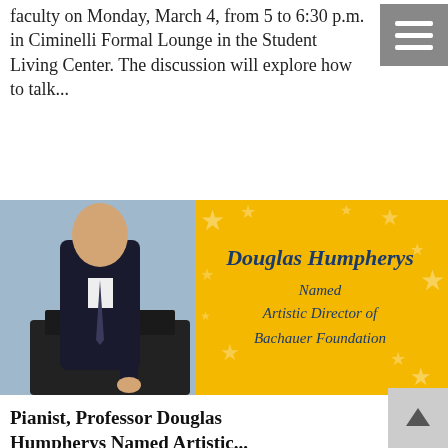faculty on Monday, March 4, from 5 to 6:30 p.m. in Ciminelli Formal Lounge in the Student Living Center. The discussion will explore how to talk...
[Figure (photo): Left half: photo of a man in a suit standing at a grand piano. Right half: yellow/gold background with stars and text 'Douglas Humpherys Named Artistic Director of Bachauer Foundation'.]
Pianist, Professor Douglas Humpherys Named Artistic...